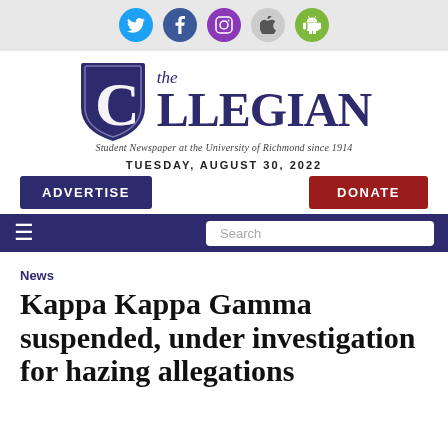[Figure (logo): Social media icons bar: Twitter (blue), Facebook (dark blue), Instagram (purple), Apple (gray), Android (green)]
[Figure (logo): The Collegian newspaper logo with shield emblem. Tagline: Student Newspaper at the University of Richmond since 1914]
TUESDAY, AUGUST 30, 2022
ADVERTISE
DONATE
[Figure (screenshot): Navigation bar with hamburger menu icon and search box]
News
Kappa Kappa Gamma suspended, under investigation for hazing allegations